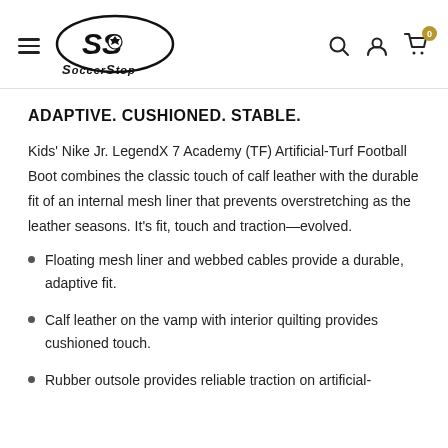Soccer Stop — navigation header with logo, search, account, and cart icons
ADAPTIVE. CUSHIONED. STABLE.
Kids' Nike Jr. LegendX 7 Academy (TF) Artificial-Turf Football Boot combines the classic touch of calf leather with the durable fit of an internal mesh liner that prevents overstretching as the leather seasons. It's fit, touch and traction—evolved.
Floating mesh liner and webbed cables provide a durable, adaptive fit.
Calf leather on the vamp with interior quilting provides cushioned touch.
Rubber outsole provides reliable traction on artificial-